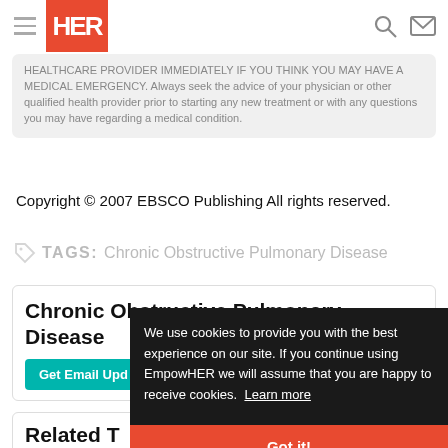HER
HEALTHCARE PROVIDER IMMEDIATELY IF YOU THINK YOU MAY HAVE A MEDICAL EMERGENCY. Always seek the advice of your physician or other qualified health provider prior to starting any new treatment or with any questions you may have regarding a medical condition.
Copyright © 2007 EBSCO Publishing All rights reserved.
TAGS: Chronic Obstructive Pulmonary Disease
Chronic Obstructive Pulmonary Disease
Get Email Updates
Related Topics
We use cookies to provide you with the best experience on our site. If you continue using EmpowHER we will assume that you are happy to receive cookies. Learn more
Got it!